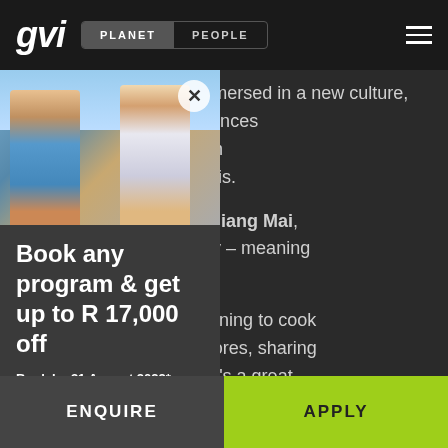gvi | PLANET | PEOPLE
their country. You'll be immersed in a new culture, ll learn about life experiences wn while interacting with ers on a day-to-day basis.
locations, including Chiang Mai, side in a local homestay – meaning with a local family.
pend their free time learning to cook family, helping with chores, sharing ing about one another. It's a great experience a meaningful cultural
[Figure (photo): Two young women sitting outdoors, one in colorful top, one in white, with sky in background]
Book any program & get up to R 17,000 off
Book by 31 August 2022*
Apply >
ENQUIRE
APPLY